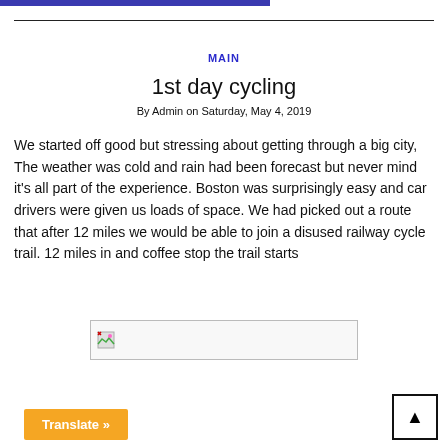MAIN
1st day cycling
By Admin on Saturday, May 4, 2019
We started off good but stressing about getting through a big city, The weather was cold and rain had been forecast but never mind it’s all part of the experience. Boston was surprisingly easy and car drivers were given us loads of space. We had picked out a route that after 12 miles we would be able to join a disused railway cycle trail. 12 miles in and coffee stop the trail starts
[Figure (photo): Broken image placeholder]
Translate »